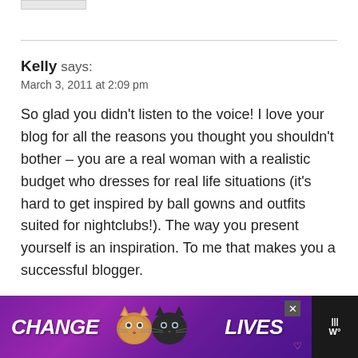[Figure (other): Small placeholder image/box at top left]
Kelly says:
March 3, 2011 at 2:09 pm
So glad you didn't listen to the voice! I love your blog for all the reasons you thought you shouldn't bother – you are a real woman with a realistic budget who dresses for real life situations (it's hard to get inspired by ball gowns and outfits suited for nightclubs!). The way you present yourself is an inspiration. To me that makes you a successful blogger.
[Figure (other): Advertisement banner at bottom: purple background with two cats and text 'CHANGE LIVES' in white italic font]